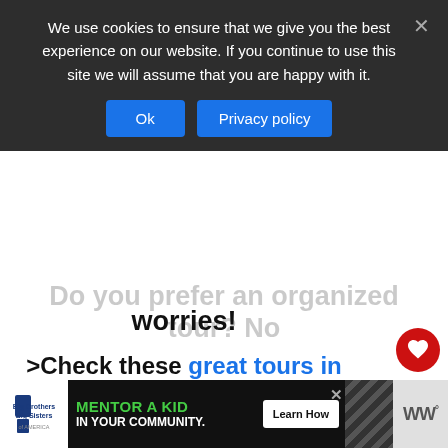We use cookies to ensure that we give you the best experience on our website. If you continue to use this site we will assume that you are happy with it.
Do you prefer an organized tour? No worries!
>Check these great tours in and from Rethymnon<
More of Rethymnon City Itinerary
Morning
WHAT'S NEXT → 2 Fantastic Days in...
[Figure (infographic): Advertisement banner for Big Brothers Big Sisters: MENTOR A KID IN YOUR COMMUNITY. Learn How button.]